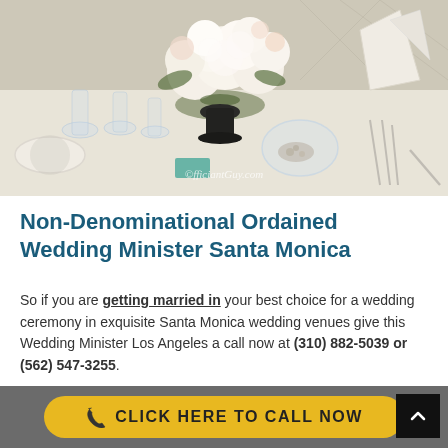[Figure (photo): Wedding table setting with white floral centerpiece (roses and hydrangeas), crystal glassware, white plates and napkins, silverware. Watermark reads officiantGuy.com]
Non-Denominational Ordained Wedding Minister Santa Monica
So if you are getting married in your best choice for a wedding ceremony in exquisite Santa Monica wedding venues give this Wedding Minister Los Angeles a call now at (310) 882-5039 or (562) 547-3255.
CLICK HERE TO CALL NOW